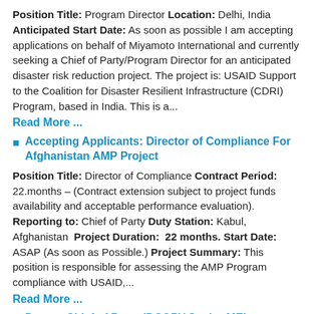Position Title: Program Director Location: Delhi, India Anticipated Start Date: As soon as possible I am accepting applications on behalf of Miyamoto International and currently seeking a Chief of Party/Program Director for an anticipated disaster risk reduction project. The project is: USAID Support to the Coalition for Disaster Resilient Infrastructure (CDRI) Program, based in India. This is a...
Read More ...
Accepting Applicants: Director of Compliance For Afghanistan AMP Project
Position Title: Director of Compliance Contract Period: 22.months – (Contract extension subject to project funds availability and acceptable performance evaluation). Reporting to: Chief of Party Duty Station: Kabul, Afghanistan Project Duration: 22 months. Start Date: ASAP (As soon as Possible.) Project Summary: This position is responsible for assessing the AMP Program compliance with USAID,...
Read More ...
Deputy Chief of Party (DCOP)/ Senior MEI